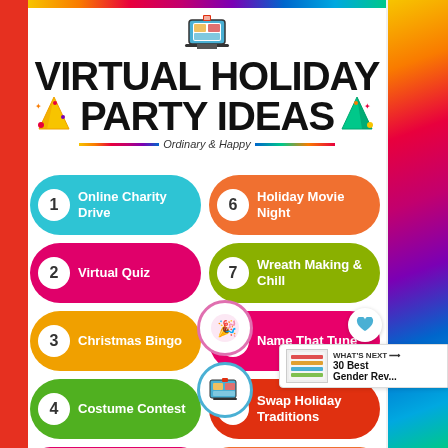VIRTUAL HOLIDAY PARTY IDEAS
Ordinary & Happy
1 Online Charity Drive
6 Holiday Movie Night
2 Virtual Quiz
7 Wreath Making & Chill
3 Christmas Bingo
8 Name That Tune
4 Costume Contest
9 Swap Holiday Traditions
5 Tiny Tree Competition
10 Christmas Cooking Class